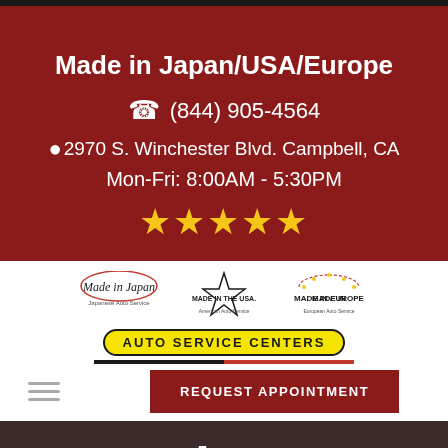Made in Japan/USA/Europe
(844) 905-4564
2970 S. Winchester Blvd. Campbell, CA
Mon-Fri: 8:00AM - 5:30PM
[Figure (logo): Five gold star rating]
[Figure (logo): Made in Japan, Made in the USA, Made in Europe logos and AUTO SERVICE CENTERS badge]
REQUEST APPOINTMENT
Auto Air